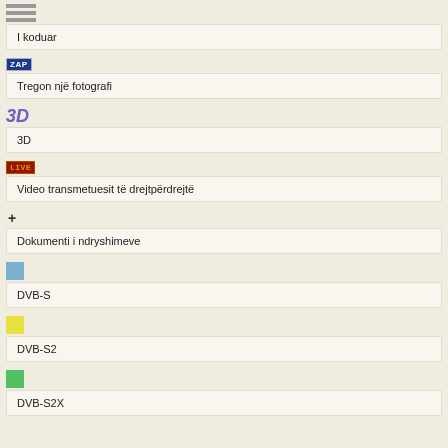[Figure (illustration): Hamburger menu icon (three horizontal gray bars)]
I koduar
[Figure (illustration): ZAP badge - blue rectangle with white text ZAP]
Tregon një fotografi
[Figure (illustration): 3D badge - stylized italic 3D text in purple/blue gradient]
3D
[Figure (illustration): LIVE badge - dark red rectangle with orange text LIVE]
Video transmetuesit të drejtpërdrejtë
[Figure (illustration): Plus sign icon (+)]
Dokumenti i ndryshimeve
[Figure (illustration): Blue color square icon]
DVB-S
[Figure (illustration): Yellow color square icon]
DVB-S2
[Figure (illustration): Green color square icon]
DVB-S2X